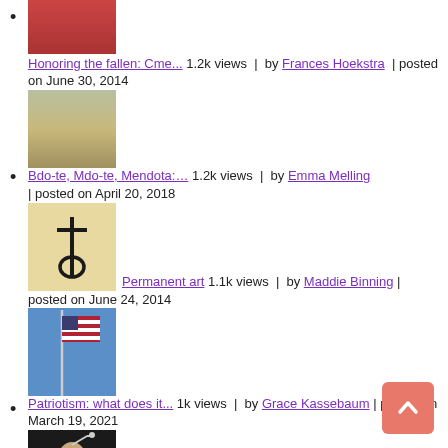Honoring the fallen: Cme... 1.2k views | by Frances Hoekstra | posted on June 30, 2014
Bdo-te, Mdo-te, Mendota:... 1.2k views | by Emma Melling | posted on April 20, 2018
Permanent art 1.1k views | by Maddie Binning | posted on June 24, 2014
Patriotism: what does it... 1k views | by Grace Kassebaum | posted on March 19, 2021
One on one with Chet Holm... 817 views | by Jake McCabe | posted on October 14, 2019